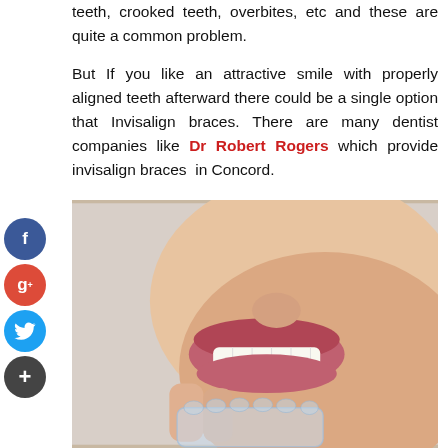teeth, crooked teeth, overbites, etc and these are quite a common problem.
But If you like an attractive smile with properly aligned teeth afterward there could be a single option that Invisalign braces. There are many dentist companies like Dr Robert Rogers which provide invisalign braces in Concord.
[Figure (photo): Close-up photo of a smiling person holding a clear invisalign dental aligner/brace up to their mouth, showing white teeth and pink lips.]